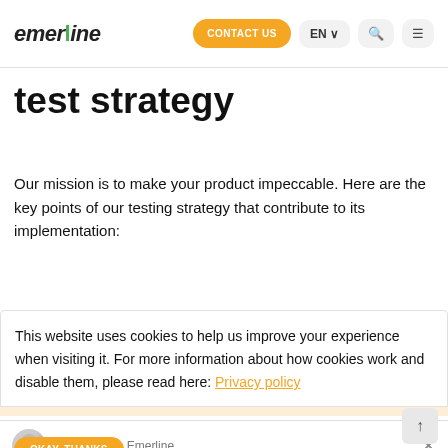emerline | CONTACT US | EN | [search] [menu]
test strategy
Our mission is to make your product impeccable. Here are the key points of our testing strategy that contribute to its implementation:
This website uses cookies to help us improve your experience when visiting it. For more information about how cookies work and disable them, please read here: Privacy policy
How can we help? We're here for you!
Reply to Hannah...functional aspect of the entire product un